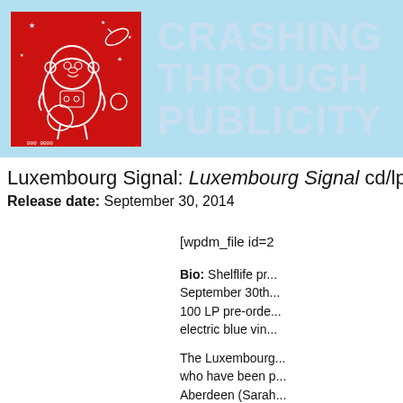[Figure (illustration): Header banner with light blue background containing a red square album art image of a cartoon monkey astronaut in space on the left, and the text 'CRASHING THROUGH PUBLICITY' in large white/light blue bold letters on the right]
Luxembourg Signal: Luxembourg Signal cd/lp (
Release date: September 30, 2014
[wpdm_file id=2
Bio: Shelflife pr... September 30th... 100 LP pre-orde... electric blue vin...
The Luxembourg... who have been p... Aberdeen (Sarah...